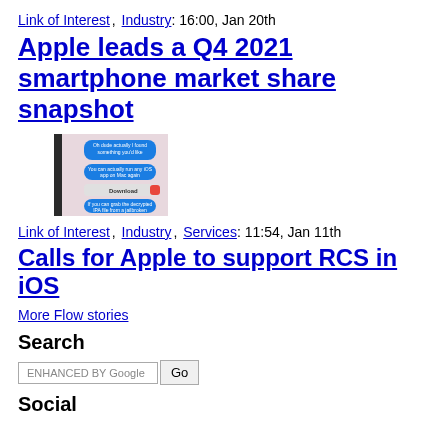Link of Interest, Industry: 16:00, Jan 20th
Apple leads a Q4 2021 smartphone market share snapshot
[Figure (screenshot): Screenshot of iMessage conversation showing messages about running iOS apps on Mac and decrypted IPA files from a jailbroken device, with a Download button visible.]
Link of Interest, Industry, Services: 11:54, Jan 11th
Calls for Apple to support RCS in iOS
More Flow stories
Search
enhanced by Google [search input] Go
Social